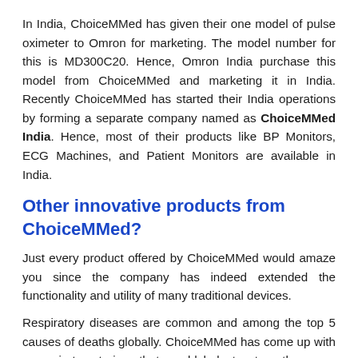In India, ChoiceMMed has given their one model of pulse oximeter to Omron for marketing. The model number for this is MD300C20. Hence, Omron India purchase this model from ChoiceMMed and marketing it in India. Recently ChoiceMMed has started their India operations by forming a separate company named as ChoiceMMed India. Hence, most of their products like BP Monitors, ECG Machines, and Patient Monitors are available in India.
Other innovative products from ChoiceMMed?
Just every product offered by ChoiceMMed would amaze you since the company has indeed extended the functionality and utility of many traditional devices.
Respiratory diseases are common and among the top 5 causes of deaths globally. ChoiceMMed has come up with a respiratory trainer that would help to strengthen your respiratory apparatus, increase the lung volume, and at the same time, it acts as a diagnostic product by helping to understand the changes in